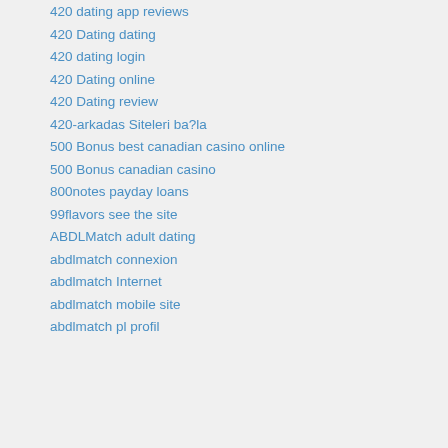420 dating app reviews
420 Dating dating
420 dating login
420 Dating online
420 Dating review
420-arkadas Siteleri ba?la
500 Bonus best canadian casino online
500 Bonus canadian casino
800notes payday loans
99flavors see the site
ABDLMatch adult dating
abdlmatch connexion
abdlmatch Internet
abdlmatch mobile site
abdlmatch pl profil